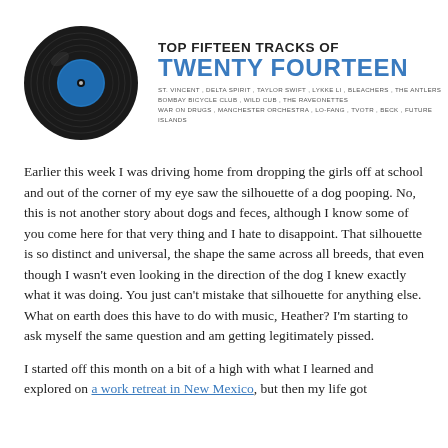[Figure (illustration): Vinyl record illustration with black record and blue center label, alongside title text 'TOP FIFTEEN TRACKS OF TWENTY FOURTEEN' with artist names listed below]
Earlier this week I was driving home from dropping the girls off at school and out of the corner of my eye saw the silhouette of a dog pooping. No, this is not another story about dogs and feces, although I know some of you come here for that very thing and I hate to disappoint. That silhouette is so distinct and universal, the shape the same across all breeds, that even though I wasn't even looking in the direction of the dog I knew exactly what it was doing. You just can't mistake that silhouette for anything else. What on earth does this have to do with music, Heather? I'm starting to ask myself the same question and am getting legitimately pissed.
I started off this month on a bit of a high with what I learned and explored on a work retreat in New Mexico, but then my life got